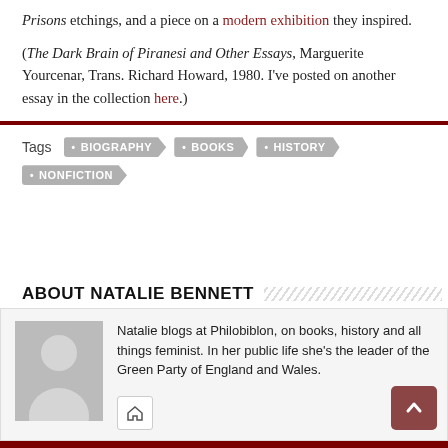Prisons etchings, and a piece on a modern exhibition they inspired.
(The Dark Brain of Piranesi and Other Essays, Marguerite Yourcenar, Trans. Richard Howard, 1980. I've posted on another essay in the collection here.)
Tags  BIOGRAPHY  BOOKS  HISTORY  NONFICTION
ABOUT NATALIE BENNETT
[Figure (illustration): Gray placeholder avatar silhouette of a person]
Natalie blogs at Philobiblon, on books, history and all things feminist. In her public life she's the leader of the Green Party of England and Wales.